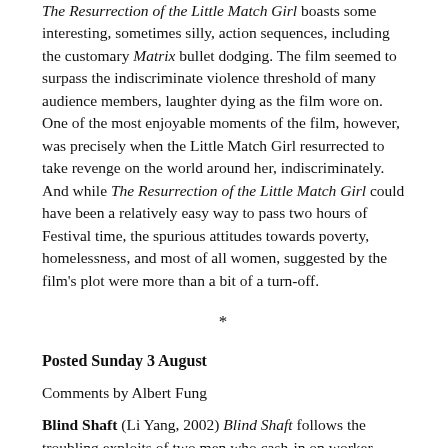The Resurrection of the Little Match Girl boasts some interesting, sometimes silly, action sequences, including the customary Matrix bullet dodging. The film seemed to surpass the indiscriminate violence threshold of many audience members, laughter dying as the film wore on. One of the most enjoyable moments of the film, however, was precisely when the Little Match Girl resurrected to take revenge on the world around her, indiscriminately. And while The Resurrection of the Little Match Girl could have been a relatively easy way to pass two hours of Festival time, the spurious attitudes towards poverty, homelessness, and most of all women, suggested by the film's plot were more than a bit of a turn-off.
*
Posted Sunday 3 August
Comments by Albert Fung
Blind Shaft (Li Yang, 2002) Blind Shaft follows the troubling exploits of two men who cash-in on worker compensation